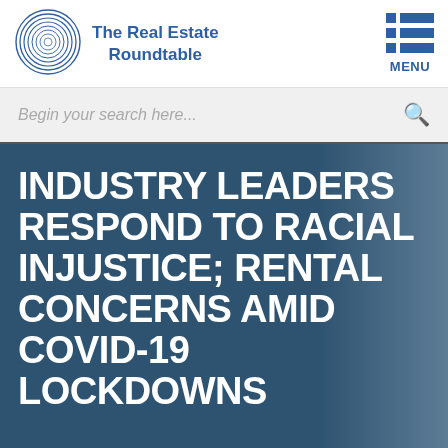[Figure (logo): The Real Estate Roundtable logo with concentric circle graphic and blue text, plus a menu icon on the right]
Begin your search here...
INDUSTRY LEADERS RESPOND TO RACIAL INJUSTICE; RENTAL CONCERNS AMID COVID-19 LOCKDOWNS